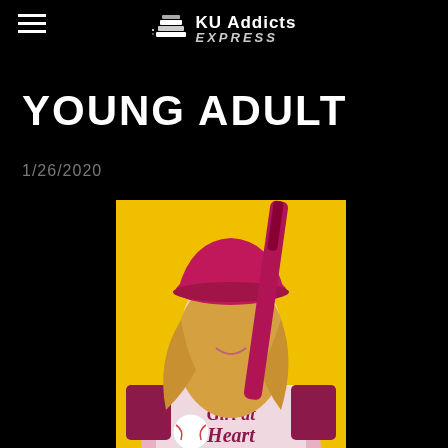KU Addicts EXPRESS
YOUNG ADULT
1/26/2020
[Figure (illustration): Book cover for 'Girl at Heart' showing a young woman with long blonde hair wearing a pink/magenta baseball cap, pink and burgundy raglan t-shirt reading 'Girl at Heart', holding a baseball bat, on a yellow background]